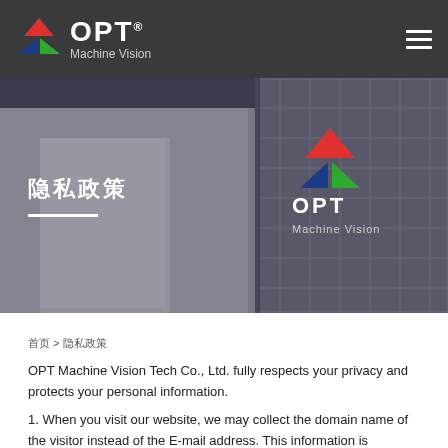OPT® Machine Vision
[Figure (photo): OPT Machine Vision building exterior with logo showing red triangle, green triangle, and blue triangle on a facade]
隐私政策
首页 > 隐私政策
OPT Machine Vision Tech Co., Ltd. fully respects your privacy and protects your personal information. 1. When you visit our website, we may collect the domain name of the visitor instead of the E-mail address. This information is aggregated to determine the number of visitors, time and duration of visit, and the pages of interest on the site.
2. OPT website also provides opportunities for us to cooperate